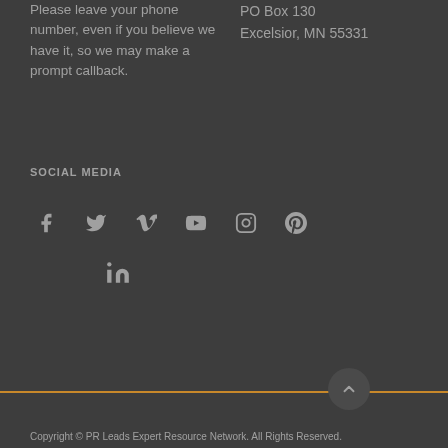Please leave your phone number, even if you believe we have it, so we may make a prompt callback.
PO Box 130
Excelsior, MN 55331
SOCIAL MEDIA
[Figure (infographic): Social media icons row: Facebook, Twitter, Vimeo, YouTube, Instagram, Pinterest]
[Figure (infographic): Social media icon: LinkedIn]
Copyright © PR Leads Expert Resource Network. All Rights Reserved.